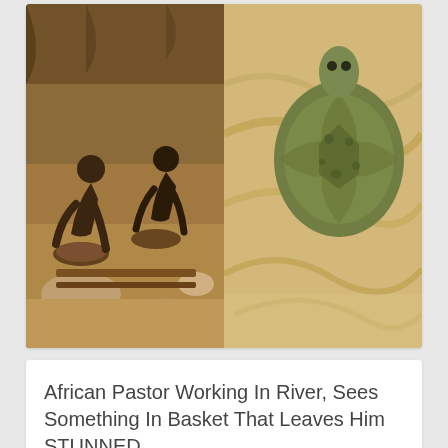[Figure (photo): Two-panel photo: left panel shows African miners working in a river/dirt area with panning baskets; right panel shows a turtle or terrapin seen from above in sandy/muddy water.]
African Pastor Working In River, Sees Something In Basket That Leaves Him STUNNED...
[Figure (photo): Two-panel photo at bottom: left panel shows people at what appears to be a railing or bridge (one in red clothing); right panel shows a person's face in a darker setting.]